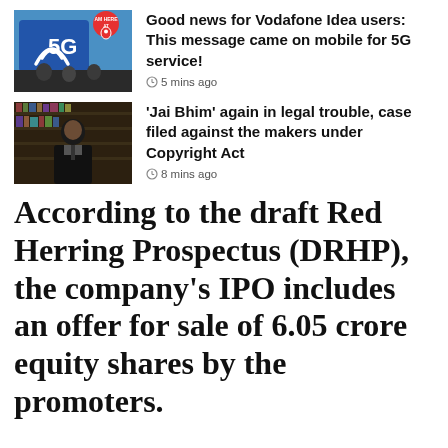[Figure (photo): 5G Vodafone Idea advertisement with a location pin and people in background]
Good news for Vodafone Idea users: This message came on mobile for 5G service!
5 mins ago
[Figure (photo): Man in dark suit standing in front of bookshelves, scene from Jai Bhim film]
'Jai Bhim' again in legal trouble, case filed against the makers under Copyright Act
8 mins ago
According to the draft Red Herring Prospectus (DRHP), the company's IPO includes an offer for sale of 6.05 crore equity shares by the promoters.